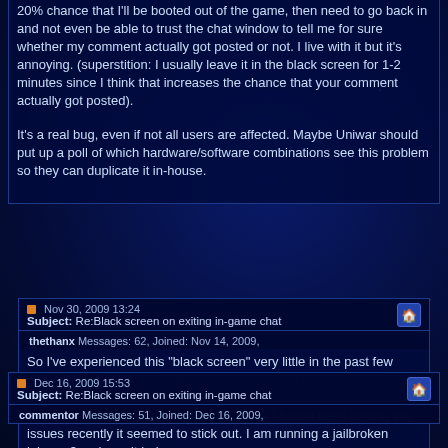20% chance that I'll be booted out of the game, then need to go back in and not even be able to trust the chat window to tell me for sure whether my comment actually got posted or not. I live with it but it's annoying. (superstition: I usually leave it in the black screen for 1-2 minutes since I think that increases the chance that your comment actually got posted).
It's a real bug, even if not all users are affected. Maybe Uniwar should put up a poll of which hardware/software combinations see this problem so they can duplicate it in-house.
Nov 30, 2009 13:24
Subject: Re:Black screen on exiting in-game chat
thethanx Messages: 62, Joined: Nov 14, 2009,
So I've experienced this "black screen" very little in the past few weeks, but it came up again and I noticed that before it happened, I got a text and it popped up as an alert which I closed. I don't know if this is an isolated experience or not, since I hadn't been having any issues recently it seemed to stick out. I am running a jailbroken iphone 3g... hope it helps
Dec 16, 2009 15:53
Subject: Re:Black screen on exiting in-game chat
commentor Messages: 51, Joined: Dec 16, 2009,